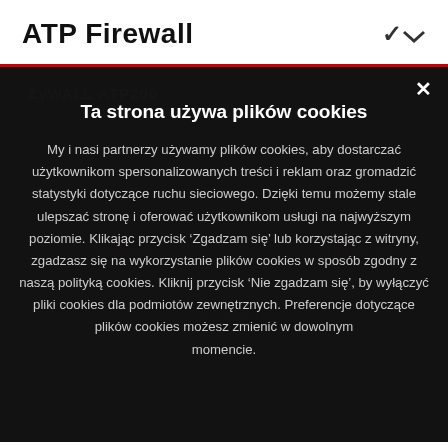ATP Firewall
[Figure (screenshot): Dark overlay showing a cookie consent modal dialog over a product page background. The modal contains a cookie consent notice in Polish language with a close button (×) in the top right corner.]
Ta strona używa plików cookies
My i nasi partnerzy używamy plików cookies, aby dostarczać użytkownikom spersonalizowanych treści i reklam oraz gromadzić statystyki dotyczące ruchu sieciowego. Dzięki temu możemy stale ulepszać stronę i oferować użytkownikom usługi na najwyższym poziomie. Klikając przycisk 'Zgadzam się' lub korzystając z witryny, zgadzasz się na wykorzystanie plików cookies w sposób zgodny z naszą polityką cookies. Kliknij przycisk 'Nie zgadzam się', by wyłączyć pliki cookies dla podmiotów zewnętrznych. Preferencje dotyczące plików cookies możesz zmienić w dowolnym momencie.